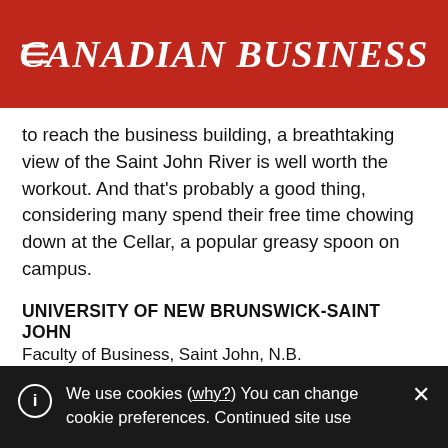CANADIAN BUSINESS
to reach the business building, a breathtaking view of the Saint John River is well worth the workout. And that's probably a good thing, considering many spend their free time chowing down at the Cellar, a popular greasy spoon on campus.
UNIVERSITY OF NEW BRUNSWICK-SAINT JOHN
Faculty of Business, Saint John, N.B.
Tuition: $28,000 (n/c) | Length: 12 Months
UNBSJ's MBA program is in the midst of a major
We use cookies (why?) You can change cookie preferences. Continued site use